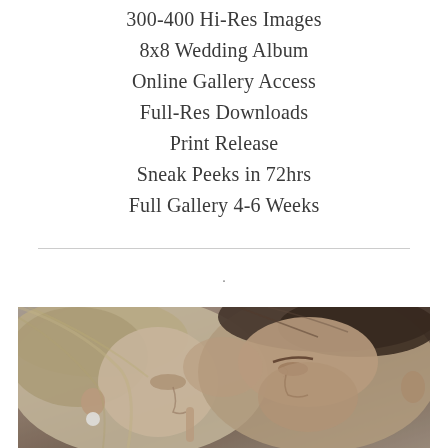300-400 Hi-Res Images
8x8 Wedding Album
Online Gallery Access
Full-Res Downloads
Print Release
Sneak Peeks in 72hrs
Full Gallery 4-6 Weeks
.
[Figure (photo): Close-up photo of a couple with foreheads nearly touching — woman on the left with blonde hair and pearl earring, man on the right with short dark hair, both with eyes closed or downcast, intimate moment]